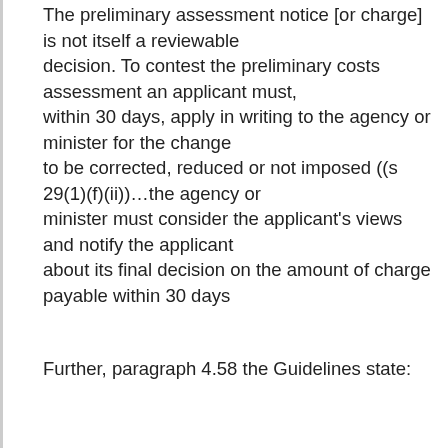The preliminary assessment notice [or charge] is not itself a reviewable decision. To contest the preliminary costs assessment an applicant must, within 30 days, apply in writing to the agency or minister for the change to be corrected, reduced or not imposed ((s 29(1)(f)(ii))…the agency or minister must consider the applicant's views and notify the applicant about its final decision on the amount of charge payable within 30 days
Further, paragraph 4.58 the Guidelines state:
if an agency decides not to exercise its discretion to reduce or not